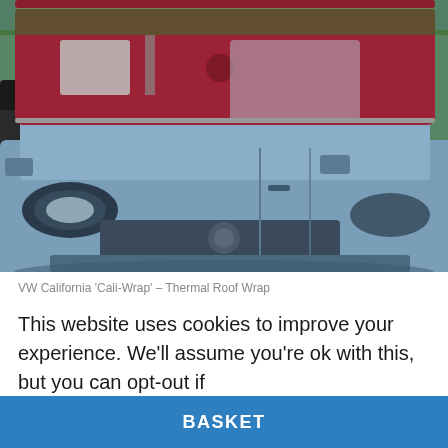[Figure (photo): A VW California campervan with a deep red/maroon thermal roof wrap covering the raised pop-up rooftop. The van body is metallic blue-grey, photographed outdoors with trees and another dark vehicle in the background.]
VW California 'Cali-Wrap' – Thermal Roof Wrap
This website uses cookies to improve your experience. We'll assume you're ok with this, but you can opt-out if
BASKET